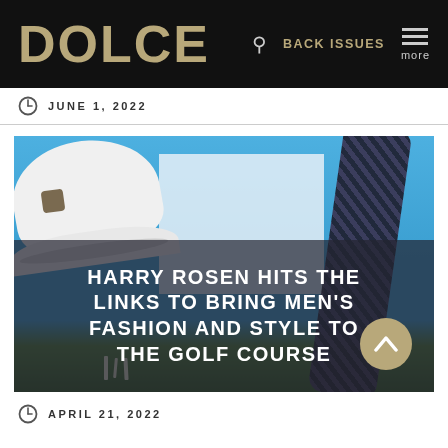DOLCE | BACK ISSUES | more
JUNE 1, 2022
[Figure (photo): Golf accessories including a white bucket hat with badge, a dark braided rope/belt, white card/box prop, and golf tees on green grass against a blue background, with overlay text: HARRY ROSEN HITS THE LINKS TO BRING MEN'S FASHION AND STYLE TO THE GOLF COURSE]
HARRY ROSEN HITS THE LINKS TO BRING MEN'S FASHION AND STYLE TO THE GOLF COURSE
APRIL 21, 2022